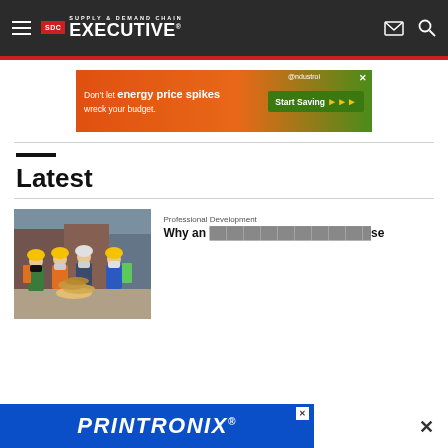Supply & Demand Chain Executive — navigation header with hamburger menu, logo, envelope icon, and search icon
[Figure (infographic): Advertisement banner: Don't let energy price spikes wreck your budget. Start Saving. @ndustroi brand logo.]
Latest
[Figure (photo): Four workers wearing yellow and white hard hats and face masks in a warehouse/shipping yard, doing a hand stack gesture together.]
Professional Development
Why an...                       ...ise
[Figure (infographic): Printronix advertisement banner at the bottom of the page with a close (X) button.]